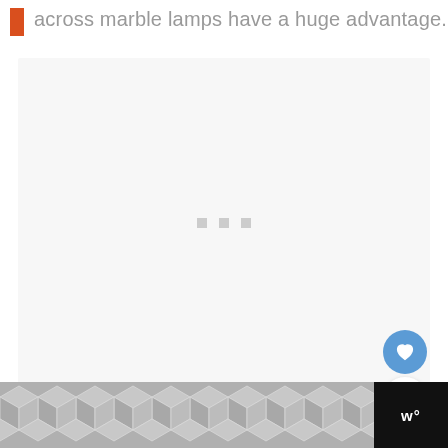across marble lamps have a huge advantage.
[Figure (photo): Large white/light grey image placeholder area with three small grey dots centered near the bottom, indicating an image carousel or loading state. Social action buttons visible on the right side: a blue heart/like button, a count showing '1', and a share button.]
[Figure (illustration): Footer bar with geometric hexagonal/diamond pattern in grey on dark background, and a logo 'w°' on the right.]